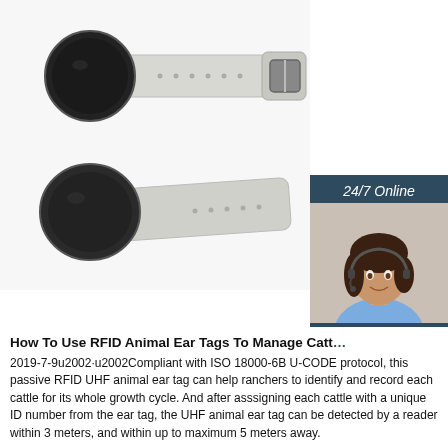[Figure (photo): Two RFID silicone wristband/wearable tags shown from different angles — one from the top showing the round dark sensor disc and clear strap with buckle, one from the side/angled view showing the same disc and strap with buckle.]
[Figure (photo): Customer service representative (woman with headset) with '24/7 Online' header, 'Click here for free chat!' text, and orange QUOTATION button — a live chat widget overlay.]
How To Use RFID Animal Ear Tags To Manage Catt…
2019-7-9u2002·u2002Compliant with ISO 18000-6B U-CODE protocol, this passive RFID UHF animal ear tag can help ranchers to identify and record each cattle for its whole growth cycle. And after asssigning each cattle with a unique ID number from the ear tag, the UHF animal ear tag can be detected by a reader within 3 meters, and within up to maximum 5 meters away.